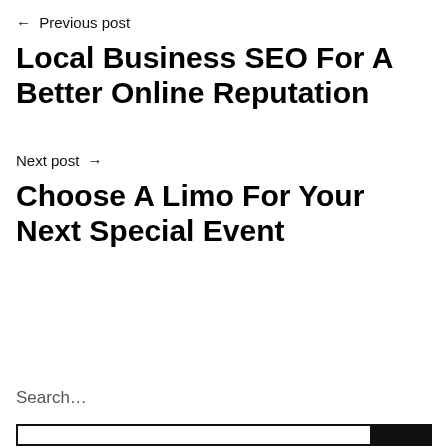← Previous post
Local Business SEO For A Better Online Reputation
Next post →
Choose A Limo For Your Next Special Event
Search…